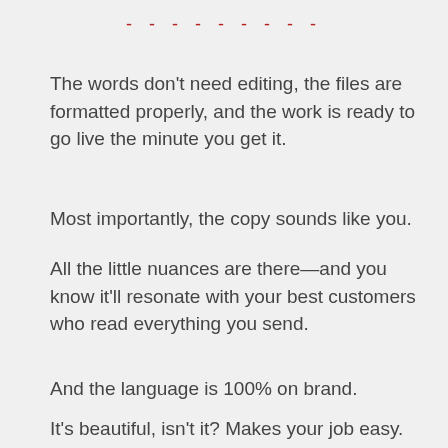- - - - - - - - -
The words don't need editing, the files are formatted properly, and the work is ready to go live the minute you get it.
Most importantly, the copy sounds like you.
All the little nuances are there—and you know it'll resonate with your best customers who read everything you send.
And the language is 100% on brand.
It's beautiful, isn't it? Makes your job easy.
But that doesn't always happen